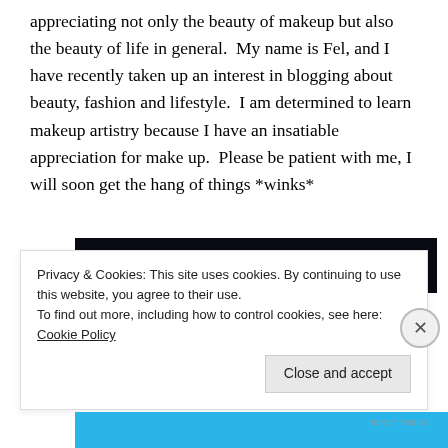appreciating not only the beauty of makeup but also the beauty of life in general.  My name is Fel, and I have recently taken up an interest in blogging about beauty, fashion and lifestyle.  I am determined to learn makeup artistry because I have an insatiable appreciation for make up.  Please be patient with me, I will soon get the hang of things *winks*
[Figure (screenshot): Dark advertisement banner with text '# 2  Fewer meetings, more work.' in white and orange on black background]
REPORT THIS AD
Privacy & Cookies: This site uses cookies. By continuing to use this website, you agree to their use.
To find out more, including how to control cookies, see here: Cookie Policy
Close and accept